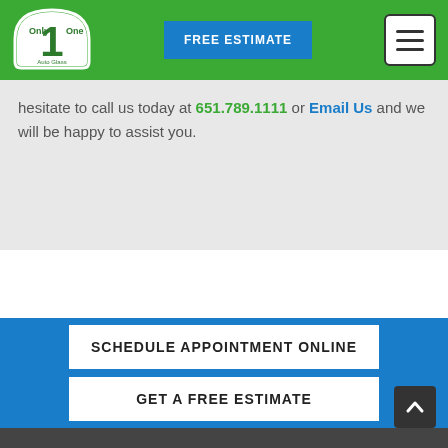[Figure (logo): Only One Auto Glass logo — white fan/windshield shape with green background, number 1 in center]
FREE ESTIMATE
hesitate to call us today at 651.789.1111 or Email Us and we will be happy to assist you.
SCHEDULE APPOINTMENT ONLINE
GET A FREE ESTIMATE